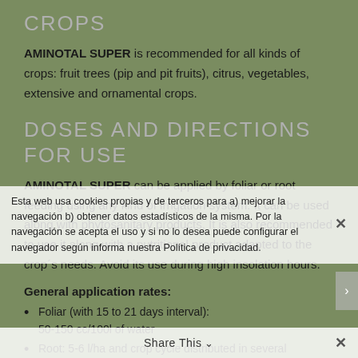CROPS
AMINOTAL SUPER is recommended for all kinds of crops: fruit trees (pip and pit fruits), citrus, vegetables, extensive and ornamental crops.
DOSES AND DIRECTIONS FOR USE
AMINOTAL SUPER can be applied by foliar or root feeding using any kind of irrigation system. It can be used along with phytosanitary products. It is also recommended to use it along with a nutritional product adapted to the crop´s needs. Avoid its use during high insolation hours.
General application rates:
Foliar (with 15 to 21 days interval): 50-150 cc/100l of water
Root: 5-6 l/ha and crop cycle distributed in several applications with 15 to 21 days interval